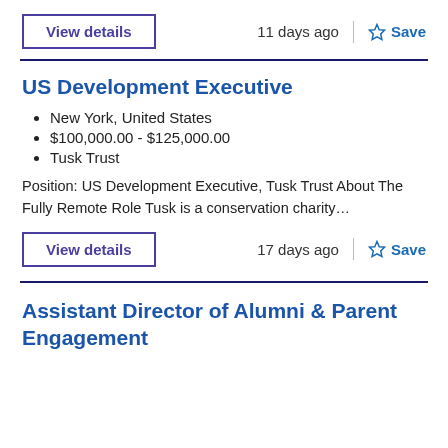View details   11 days ago   Save
US Development Executive
New York, United States
$100,000.00 - $125,000.00
Tusk Trust
Position: US Development Executive, Tusk Trust About The Fully Remote Role Tusk is a conservation charity...
View details   17 days ago   Save
Assistant Director of Alumni & Parent Engagement